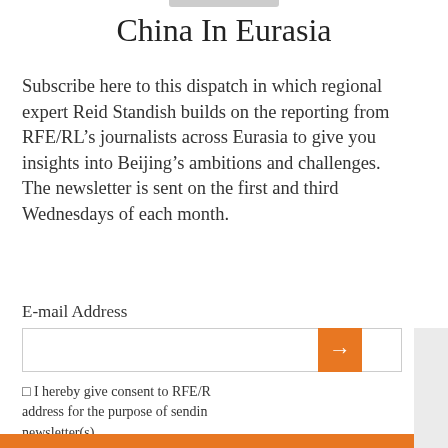China In Eurasia
Subscribe here to this dispatch in which regional expert Reid Standish builds on the reporting from RFE/RL’s journalists across Eurasia to give you insights into Beijing’s ambitions and challenges. The newsletter is sent on the first and third Wednesdays of each month.
E-mail Address
I hereby give consent to RFE/RL to use my e-mail address for the purpose of sending me the selected newsletter(s)